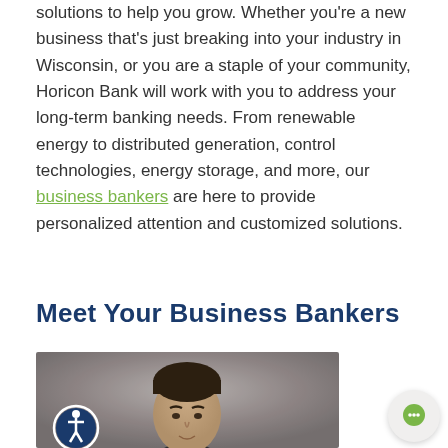solutions to help you grow. Whether you're a new business that's just breaking into your industry in Wisconsin, or you are a staple of your community, Horicon Bank will work with you to address your long-term banking needs. From renewable energy to distributed generation, control technologies, energy storage, and more, our business bankers are here to provide personalized attention and customized solutions.
Meet Your Business Bankers
[Figure (photo): Professional headshot photo of a business banker, a young man with dark hair, photographed against a grey studio background. An accessibility icon button appears in the bottom-left corner of the image.]